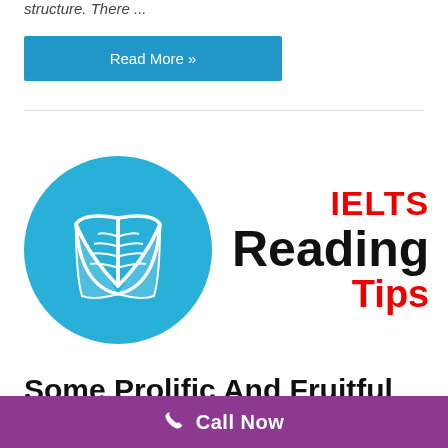structure. There ...
Read More »
[Figure (illustration): IELTS Reading Tips graphic: a circular sky-blue icon with an open white book, next to bold text 'IELTS' in red, 'Reading' in black, 'Tips' in red.]
Some Prolific And Fruitful Tips to Improve Your IELTS
Call Now